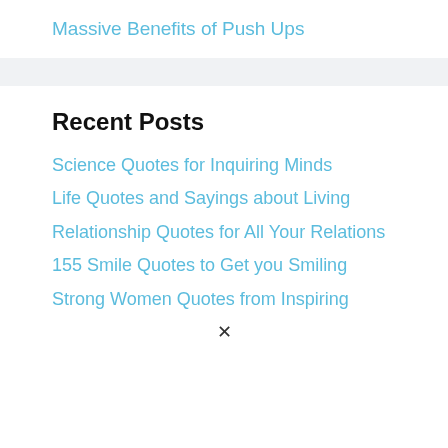Massive Benefits of Push Ups
Recent Posts
Science Quotes for Inquiring Minds
Life Quotes and Sayings about Living
Relationship Quotes for All Your Relations
155 Smile Quotes to Get you Smiling
Strong Women Quotes from Inspiring